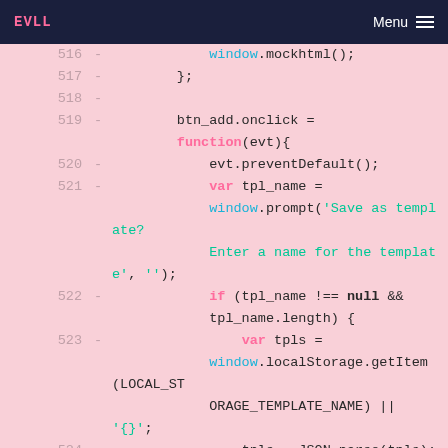EVLL   Menu
[Figure (screenshot): Code editor screenshot showing JavaScript lines 516-528 with syntax highlighting on a pink background. Line numbers on the left, dash markers, and colored code tokens.]